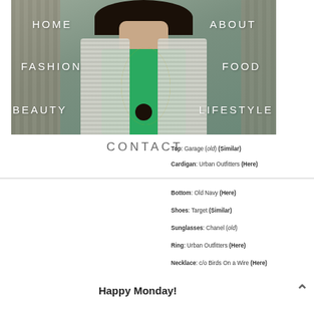[Figure (photo): Fashion blog header image showing a woman wearing a green top, striped cardigan, and gold chain necklace with navigation menu items overlaid: HOME, ABOUT, FASHION, FOOD, BEAUTY, LIFESTYLE]
CONTACT
Top: Garage (old) (Similar)
Cardigan: Urban Outfitters (Here)
Bottom: Old Navy (Here)
Shoes: Target (Similar)
Sunglasses: Chanel (old)
Ring: Urban Outfitters (Here)
Necklace: c/o Birds On a Wire (Here)
Happy Monday!